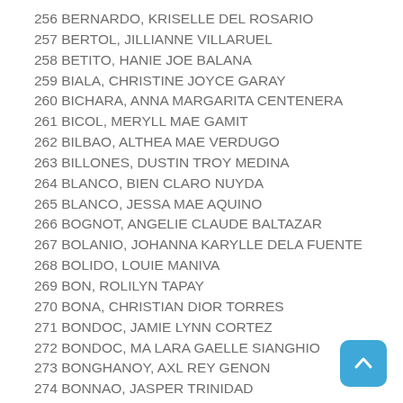256 BERNARDO, KRISELLE DEL ROSARIO
257 BERTOL, JILLIANNE VILLARUEL
258 BETITO, HANIE JOE BALANA
259 BIALA, CHRISTINE JOYCE GARAY
260 BICHARA, ANNA MARGARITA CENTENERA
261 BICOL, MERYLL MAE GAMIT
262 BILBAO, ALTHEA MAE VERDUGO
263 BILLONES, DUSTIN TROY MEDINA
264 BLANCO, BIEN CLARO NUYDA
265 BLANCO, JESSA MAE AQUINO
266 BOGNOT, ANGELIE CLAUDE BALTAZAR
267 BOLANIO, JOHANNA KARYLLE DELA FUENTE
268 BOLIDO, LOUIE MANIVA
269 BON, ROLILYN TAPAY
270 BONA, CHRISTIAN DIOR TORRES
271 BONDOC, JAMIE LYNN CORTEZ
272 BONDOC, MA LARA GAELLE SIANGHIO
273 BONGHANOY, AXL REY GENON
274 BONNAO, JASPER TRINIDAD
275 BORJA, SHAIZA TALABON
276 BORJE, DENNICE ERIA